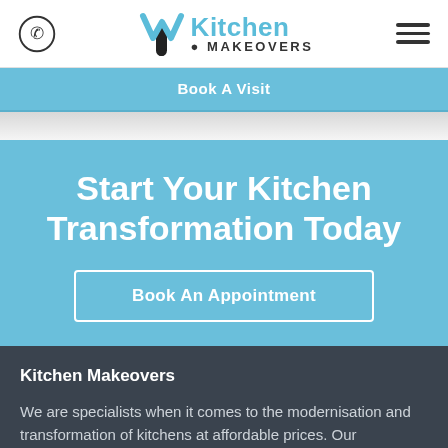[Figure (logo): Kitchen Makeovers logo with phone icon on left and hamburger menu on right in white header bar]
Book A Visit
Start Your Kitchen Transformation Today
Book An Appointment
Kitchen Makeovers
We are specialists when it comes to the modernisation and transformation of kitchens at affordable prices. Our philosophy is to provide a quality service at a price people